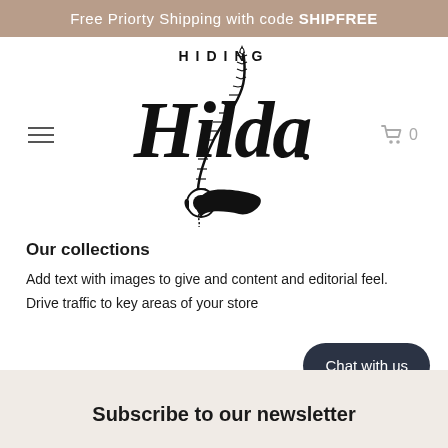Free Priorty Shipping with code SHIPFREE
[Figure (logo): Hiding Hilda brand logo with stylized script lettering and a zipper/needle graphic]
Our collections
Add text with images to give and content and editorial feel. Drive traffic to key areas of your store
Chat with us
Subscribe to our newsletter